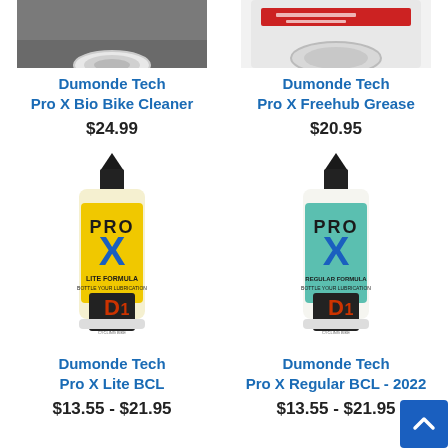[Figure (photo): Partial top view of Dumonde Tech Pro X Bio Bike Cleaner product]
Dumonde Tech
Pro X Bio Bike Cleaner
$24.99
[Figure (photo): Partial top view of Dumonde Tech Pro X Freehub Grease product]
Dumonde Tech
Pro X Freehub Grease
$20.95
[Figure (photo): Dumonde Tech Pro X Lite BCL yellow bottle with black tip]
Dumonde Tech
Pro X Lite BCL
$13.55 - $21.95
[Figure (photo): Dumonde Tech Pro X Regular BCL - 2022 teal/turquoise bottle with black tip]
Dumonde Tech
Pro X Regular BCL - 2022
$13.55 - $21.95